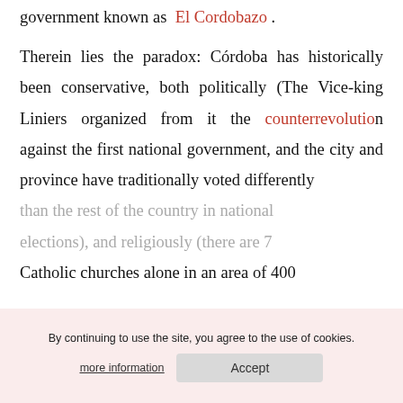government known as El Cordobazo .
Therein lies the paradox: Córdoba has historically been conservative, both politically (The Vice-king Liniers organized from it the counterrevolution against the first national government, and the city and province have traditionally voted differently than the rest of the country in national elections), and religiously (there are 7 Catholic churches alone in an area of 400
By continuing to use the site, you agree to the use of cookies.